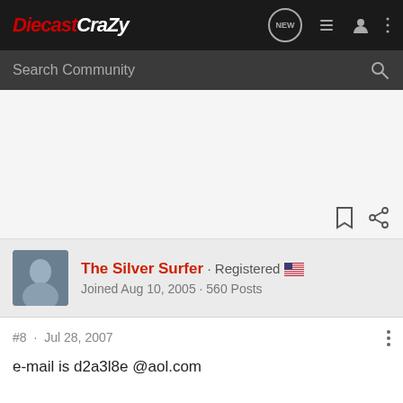DiecastCrazy - Search Community
The Silver Surfer · Registered · Joined Aug 10, 2005 · 560 Posts
#8 · Jul 28, 2007
e-mail is d2a3l8e @aol.com